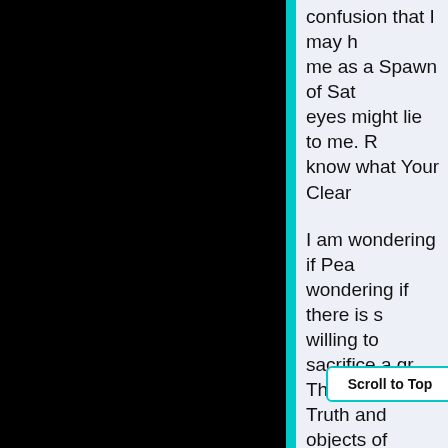confusion that I may h... me as a Spawn of Sat... eyes might lie to me. R... know what Your Clear...
I am wondering if Pea... wondering if there is s... willing to sacrifice a gr... The Ladies Truth and ... objects of Devotion. T... another chance. I kno... do to prove to Your Gr...
I have come not know... Please don't trouble Y... Night as I do in The D... from ... t...